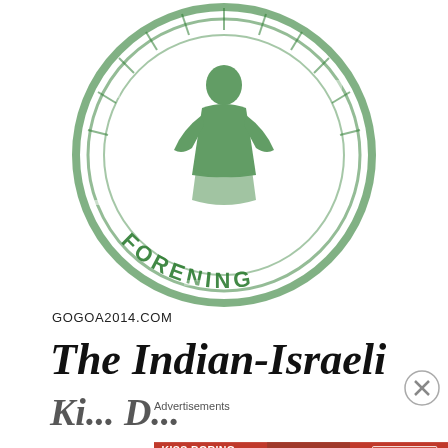[Figure (logo): Green circular stamp/seal logo with the word FORENING at the bottom and a figure in the center, distressed/grunge style]
GOGOA2014.COM
The Indian-Israeli
Advertisements
[Figure (illustration): Advertisement banner: KISS BORING LIPS GOODBYE with SHOP NOW and Macy's star logo, featuring a woman with red lips]